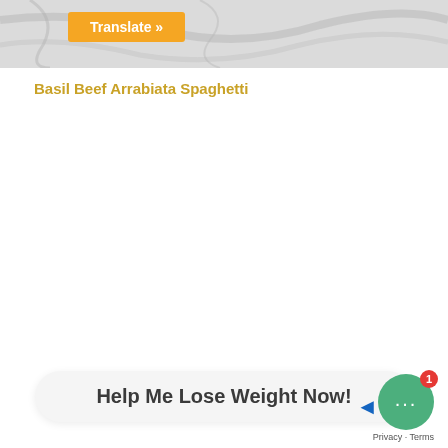[Figure (photo): Marble texture background image at top of page with a partial view of what appears to be a food photograph]
[Figure (other): Orange Translate button overlaid on the top image]
Basil Beef Arrabiata Spaghetti
Help Me Lose Weight Now!
[Figure (other): Green circular chat widget with three dots and red badge showing number 1]
Privacy · Terms